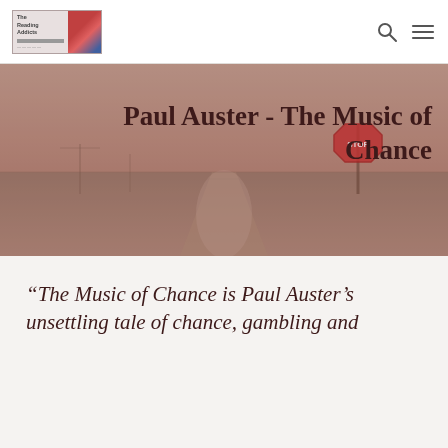Reading Addicts [logo] [search icon] [menu icon]
[Figure (photo): Sepia-toned banner photo of a flat rural road/stream stretching into the distance under a wide sky, with a stop sign visible on the right side. Overlaid with the title text.]
Paul Auster - The Music of Chance
“The Music of Chance is Paul Auster’s unsettling tale of chance, gambling and